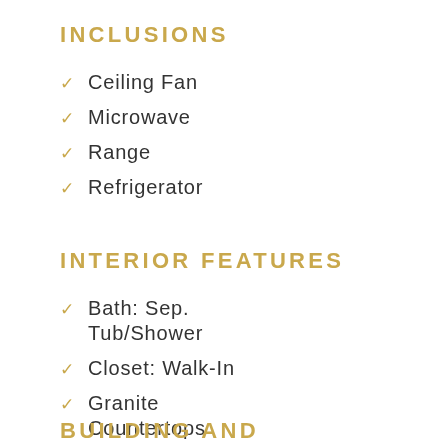INCLUSIONS
Ceiling Fan
Microwave
Range
Refrigerator
INTERIOR FEATURES
Bath: Sep. Tub/Shower
Closet: Walk-In
Granite Countertops
BUILDING AND CONSTRUCTION